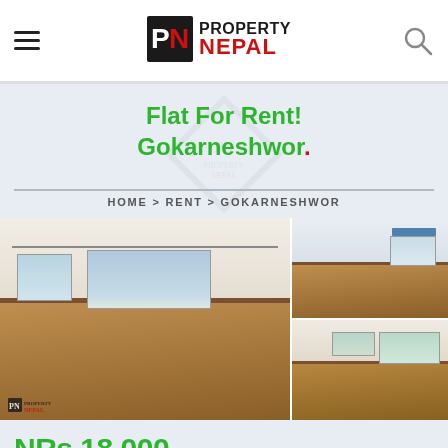[Figure (logo): Property Nepal logo with stylized PN icon and text PROPERTY NEPAL]
Flat For Rent! Gokarneshwor.
HOME > RENT > GOKARNESHWOR
[Figure (photo): Three photos of a flat interior showing living rooms with hardwood floors and windows]
NRs 18,000